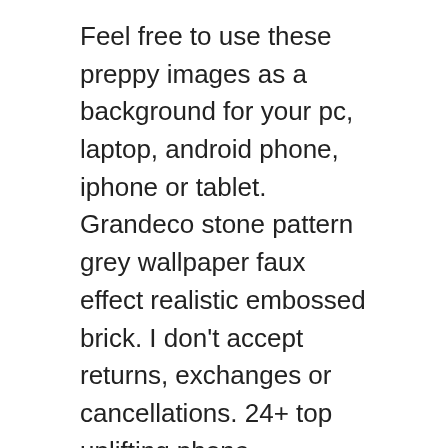Feel free to use these preppy images as a background for your pc, laptop, android phone, iphone or tablet. Grandeco stone pattern grey wallpaper faux effect realistic embossed brick. I don't accept returns, exchanges or cancellations. 24+ top uplifting phone wallpapers | preppy wallpaper, aesthetic iphone wallpaper, phone wallpaper images. Discover more aesthetic iphone, cute patterns, lightning bolt, macbook wallpapers. Preppy or prep is a youth subculture in the united states associated with old private northeastern college preparatory . There are 50 preppy wallpapers published on this page . Rock and roll mouth tongue sparkly gold stars sticker. Rolling stones wallpaper cheetah print wallpaper preppy wallpaper iconic. Emoji one peel & stick wall decal: Face smile wall stickers pvc cute wall